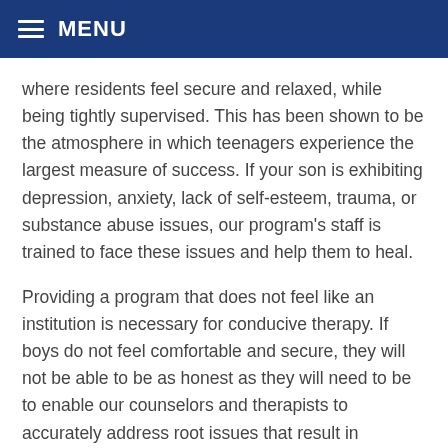MENU
where residents feel secure and relaxed, while being tightly supervised. This has been shown to be the atmosphere in which teenagers experience the largest measure of success. If your son is exhibiting depression, anxiety, lack of self-esteem, trauma, or substance abuse issues, our program's staff is trained to face these issues and help them to heal.
Providing a program that does not feel like an institution is necessary for conducive therapy. If boys do not feel comfortable and secure, they will not be able to be as honest as they will need to be to enable our counselors and therapists to accurately address root issues that result in unhealthy and problematic behaviors.
Teenagers struggling in school in Thomasville,